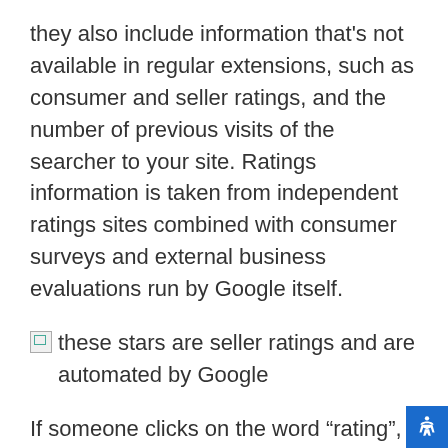they also include information that's not available in regular extensions, such as consumer and seller ratings, and the number of previous visits of the searcher to your site. Ratings information is taken from independent ratings sites combined with consumer surveys and external business evaluations run by Google itself.
these stars are seller ratings and are automated by Google
If someone clicks on the word “rating”, they see this expanded evaluation of your business (although you don’t get charged for that click, because they didn’t go to your site or otherwise connect with your business):